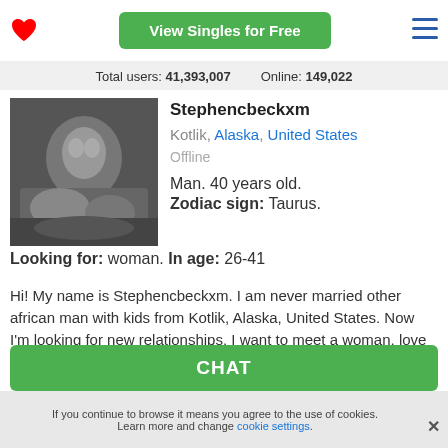View Singles for Free
Total users: 41,393,007   Online: 149,022
[Figure (photo): Black and white profile photo of a man lying down with a dog/cat]
Stephencbeckxm
Kotlik, Alaska, United States
Offline
Man. 40 years old.
Zodiac sign: Taurus.
Looking for: woman. In age: 26-41
Hi! My name is Stephencbeckxm. I am never married other african man with kids from Kotlik, Alaska, United States. Now I'm looking for new relationships. I want to meet a woman, love of my life.
CHAT
If you continue to browse it means you agree to the use of cookies. Learn more and change cookie settings.